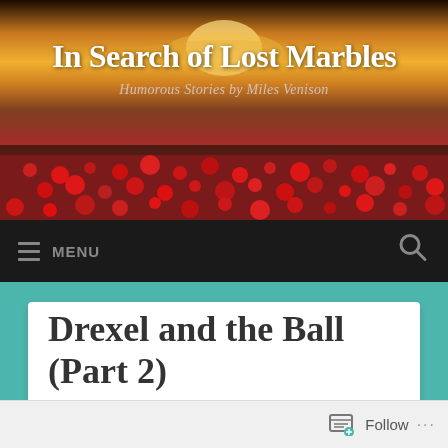[Figure (photo): Header banner showing a field of red poppies under a golden sunset sky]
In Search of Lost Marbles
Humorous Stories by Miles Venison
MENU
Drexel and the Ball (Part 2)
Follow